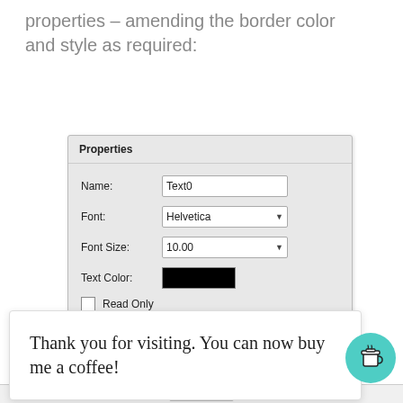properties – amending the border color and style as required:
[Figure (screenshot): Properties panel dialog showing fields: Name (Text0), Font (Helvetica), Font Size (10.00), Text Color (black swatch), Read Only checkbox (unchecked), Required checkbox (unchecked), Border Color checkbox (unchecked) with white swatch, Background Color checkbox (checked) with white swatch.]
Thank you for visiting. You can now buy me a coffee!